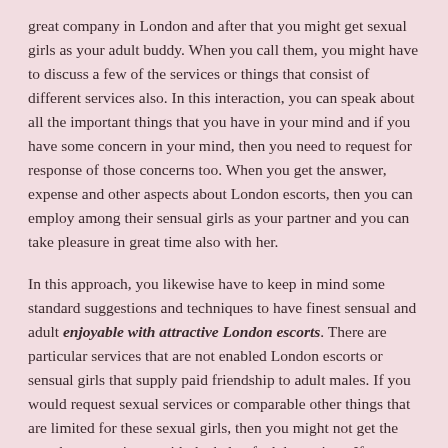great company in London and after that you might get sexual girls as your adult buddy. When you call them, you might have to discuss a few of the services or things that consist of different services also. In this interaction, you can speak about all the important things that you have in your mind and if you have some concern in your mind, then you need to request for response of those concerns too. When you get the answer, expense and other aspects about London escorts, then you can employ among their sensual girls as your partner and you can take pleasure in great time also with her.
In this approach, you likewise have to keep in mind some standard suggestions and techniques to have finest sensual and adult enjoyable with attractive London escorts. There are particular services that are not enabled London escorts or sensual girls that supply paid friendship to adult males. If you would request sexual services or comparable other things that are limited for these sexual girls, then you might not get the very best experience with the help of adult services. If you are uncertain about these guidelines, then you can request for exact same from London escorts company and you can have satisfaction also.
So, if you are likewise trying to find some methods to have adult